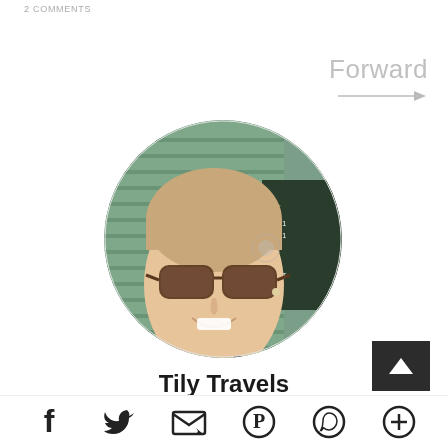2 COMMENTS
Forward →
[Figure (photo): Circular profile photo of a smiling young woman wearing sunglasses, with a green slatted background and a sign partially visible]
Tily Travels
[Figure (infographic): Social sharing icons: Facebook, Twitter, Email, Pinterest, WhatsApp, More (plus sign)]